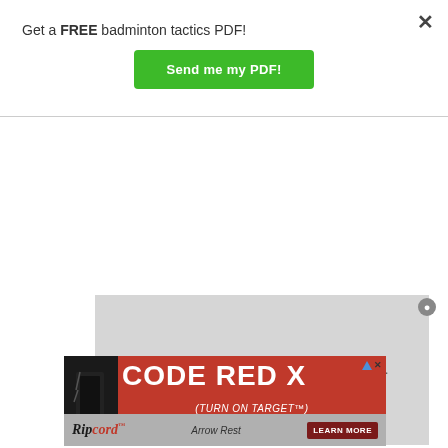Get a FREE badminton tactics PDF!
[Figure (other): Green button labeled 'Send me my PDF!']
[Figure (other): Grayed out video player area with text 'No compatible source was found for this media.' and a close button]
[Figure (other): Advertisement banner for 'CODE RED X' by Ripcord Arrow Rest with a 'LEARN MORE' button and archery device image]